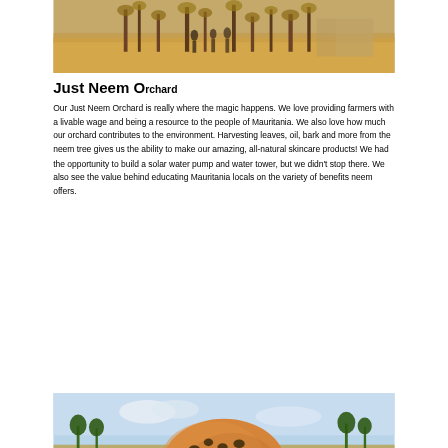[Figure (photo): Outdoor scene showing people near trees in a sandy/arid environment, with desert landscape and sparse vegetation visible]
Just Neem Orchard
Our Just Neem Orchard is really where the magic happens. We love providing farmers with a livable wage and being a resource to the people of Mauritania. We also love how much our orchard contributes to the environment. Harvesting leaves, oil, bark and more from the neem tree gives us the ability to make our amazing, all-natural skincare products! We had the opportunity to build a solar water pump and water tower, but we didn't stop there. We also see the value behind educating Mauritania locals on the variety of benefits neem offers.
[Figure (photo): A decorated gourd or calabash with leopard/neem leaf pattern, set against a landscape with trees and arid terrain in Mauritania]